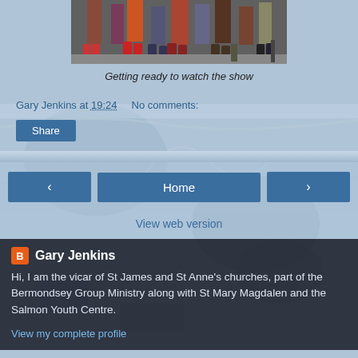[Figure (photo): Cropped photo showing people's legs and feet standing on a surface, getting ready to watch a show]
Getting ready to watch the show
Gary Jenkins at 19:24    No comments:
Share
‹   Home   ›
View web version
Gary Jenkins
Hi, I am the vicar of St James and St Anne's churches, part of the Bermondsey Group Ministry along with St Mary Magdalen and the Salmon Youth Centre.
View my complete profile